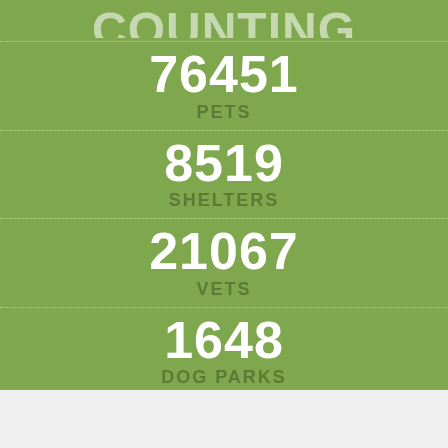76451 PETS
8519 SHELTERS
21067 VETS
1648 DOG PARKS
24661 KENNELS